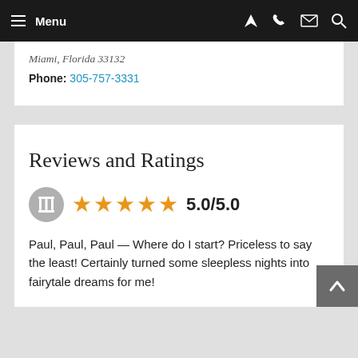Menu
Miami, Florida 33132
Phone: 305-757-3331
Reviews and Ratings
5.0/5.0
Paul, Paul, Paul — Where do I start? Priceless to say the least! Certainly turned some sleepless nights into fairytale dreams for me!